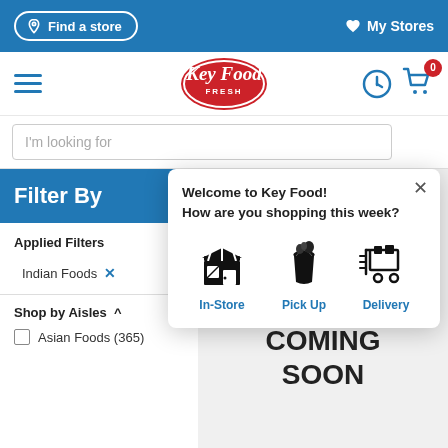Find a store   My Stores
[Figure (logo): Key Food Fresh logo in red oval with white text]
I'm looking for
Filter By
Welcome to Key Food!
How are you shopping this week?
[Figure (infographic): Three shopping mode icons: In-Store (storefront), Pick Up (grocery bag), Delivery (shopping cart with lines)]
Applied Filters
Indian Foods  ×
Shop by Aisles ^
Asian Foods (365)
IMAGE COMING SOON